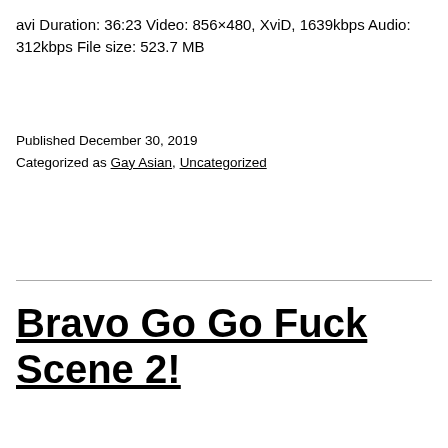avi Duration: 36:23 Video: 856×480, XviD, 1639kbps Audio: 312kbps File size: 523.7 MB
Published December 30, 2019
Categorized as Gay Asian, Uncategorized
Bravo Go Go Fuck Scene 2!